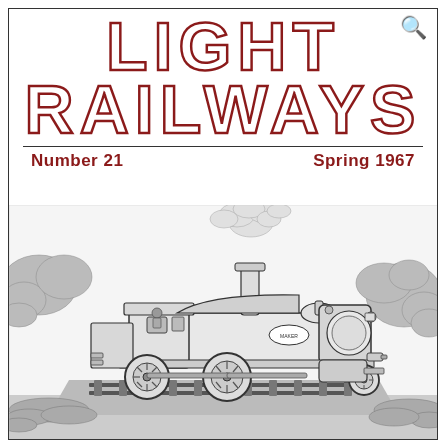LIGHT RAILWAYS
Number 21   Spring 1967
[Figure (illustration): Black and white pen/ink illustration of a steam locomotive on railway tracks, with steam rising from the chimney, vegetation on both sides of the track. The locomotive faces right and shows detailed mechanical drawing style artwork.]